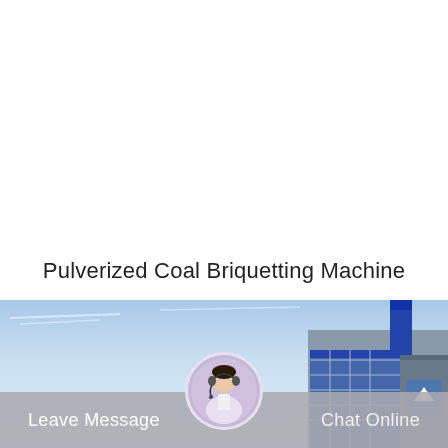Pulverized Coal Briquetting Machine
[Figure (photo): Industrial coal briquetting facility with blue sky background and a tall industrial structure/tower on the right side. A web chat interface overlay is visible at the bottom with a customer service representative avatar, 'Leave Message' button on the left, and 'Chat Online' on the right.]